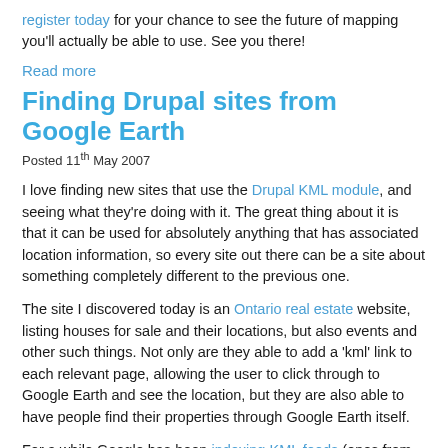register today for your chance to see the future of mapping you'll actually be able to use. See you there!
Read more
Finding Drupal sites from Google Earth
Posted 11th May 2007
I love finding new sites that use the Drupal KML module, and seeing what they're doing with it. The great thing about it is that it can be used for absolutely anything that has associated location information, so every site out there can be a site about something completely different to the previous one.
The site I discovered today is an Ontario real estate website, listing houses for sale and their locations, but also events and other such things. Not only are they able to add a 'kml' link to each relevant page, allowing the user to click through to Google Earth and see the location, but they are also able to have people find their properties through Google Earth itself.
For a while Google has been indexing KML feeds (ones from Drupal included) and allows their content to be searched in Google Earth. To take an example, there is a $300k townhome in Newmarket, Ontario for which the realtor has added location